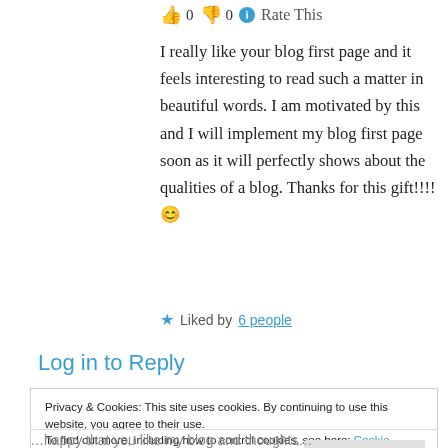👍 0 👎 0 ℹ Rate This
I really like your blog first page and it feels interesting to read such a matter in beautiful words. I am motivated by this and I will implement my blog first page soon as it will perfectly shows about the qualities of a blog. Thanks for this gift!!!! 😊
★ Liked by 6 people
Log in to Reply
Privacy & Cookies: This site uses cookies. By continuing to use this website, you agree to their use.
To find out more, including how to control cookies, see here: Cookie Policy
…happy that you like my blog and thoughts…